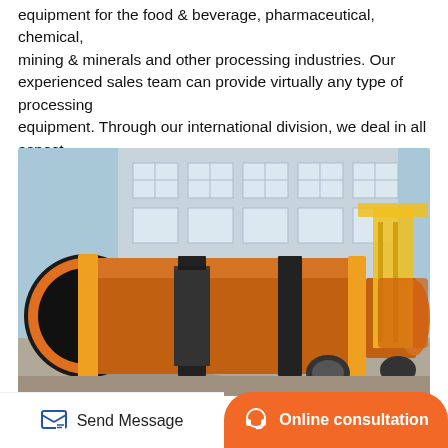equipment for the food & beverage, pharmaceutical, chemical, mining & minerals and other processing industries. Our experienced sales team can provide virtually any type of processing equipment. Through our international division, we deal in all aspect...
[Figure (photo): Large orange industrial rotary drum/kiln laid horizontally on the ground outside a factory building, with yellow crane equipment visible in the background.]
Send Message
Online consultation